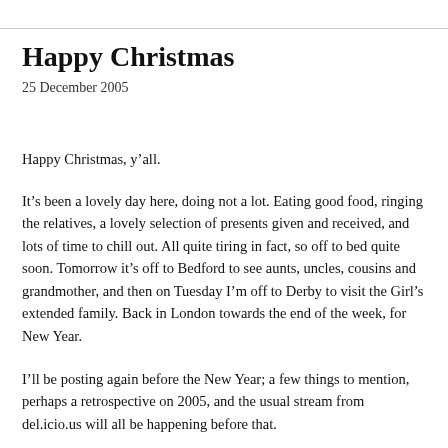Happy Christmas
25 December 2005
Happy Christmas, y’all.
It’s been a lovely day here, doing not a lot. Eating good food, ringing the relatives, a lovely selection of presents given and received, and lots of time to chill out. All quite tiring in fact, so off to bed quite soon. Tomorrow it’s off to Bedford to see aunts, uncles, cousins and grandmother, and then on Tuesday I’m off to Derby to visit the Girl’s extended family. Back in London towards the end of the week, for New Year.
I’ll be posting again before the New Year; a few things to mention, perhaps a retrospective on 2005, and the usual stream from del.icio.us will all be happening before that.